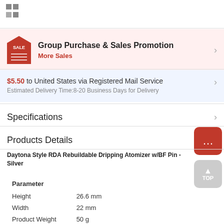[Figure (logo): Two gray squares logo in top left]
Group Purchase & Sales Promotion
More Sales
$5.50 to United States via Registered Mail Service
Estimated Delivery Time:8-20 Business Days for Delivery
Specifications
Products Details
Daytona Style RDA Rebuildable Dripping Atomizer w/BF Pin - Silver
| Parameter |  |
| --- | --- |
| Height | 26.6 mm |
| Width | 22 mm |
| Product Weight | 50 g |